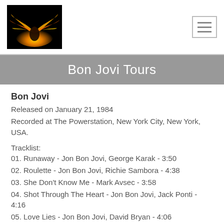Bon Jovi Tours — header with logo and menu icon
Bon Jovi Tours
Bon Jovi
Released on January 21, 1984
Recorded at The Powerstation, New York City, New York, USA.
Tracklist:
01. Runaway - Jon Bon Jovi, George Karak - 3:50
02. Roulette - Jon Bon Jovi, Richie Sambora - 4:38
03. She Don't Know Me - Mark Avsec - 3:58
04. Shot Through The Heart - Jon Bon Jovi, Jack Ponti - 4:16
05. Love Lies - Jon Bon Jovi, David Bryan - 4:06
06. Breakout - Jon Bon Jovi, David Bryan - 5:20